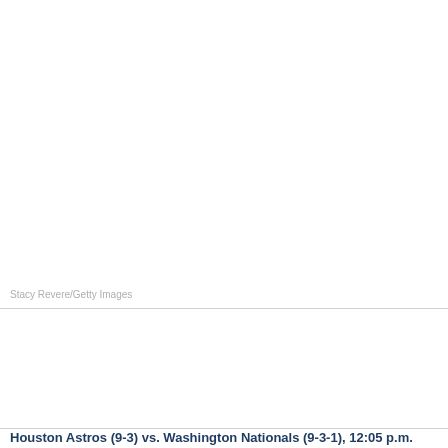[Figure (photo): Blank/white photo area placeholder at top of page]
Stacy Revere/Getty Images
[Figure (photo): Second white/blank content area below divider]
Houston Astros (9-3) vs. Washington Nationals (9-3-1), 12:05 p.m.